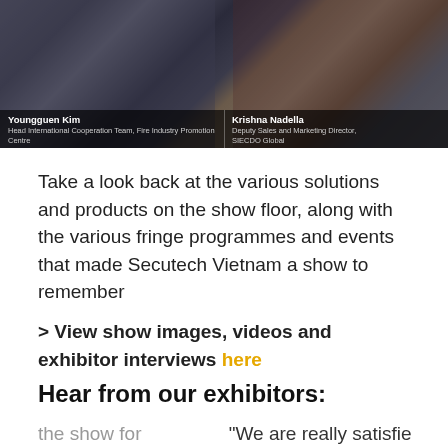[Figure (photo): Two video interview stills side by side: left shows Youngguen Kim, Head International Cooperation Team, Fire Industry Promotion Centre / Korea Fire Institute; right shows Krishna Nadella, Deputy Sales and Marketing Director, SIECDO Global]
Youngguen Kim | Head International Cooperation Team, Fire Industry Promotion Centre / Korea Fire Institute | Krishna Nadella | Deputy Sales and Marketing Director, SIECDO Global
Take a look back at the various solutions and products on the show floor, along with the various fringe programmes and events that made Secutech Vietnam a show to remember
> View show images, videos and exhibitor interviews here
Hear from our exhibitors:
the show for s because of itors that come
"We are really satisfie results of this year's f day we have received potential clients at our